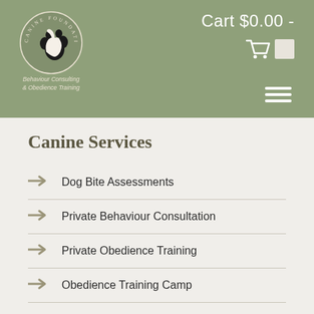[Figure (logo): Canine Foundations logo — circular badge with dog and paw print silhouette, text 'CANINE FOUNDATIONS' around the circle, tagline 'Behaviour Consulting & Obedience Training' below]
Cart $0.00 -
Canine Services
Dog Bite Assessments
Private Behaviour Consultation
Private Obedience Training
Obedience Training Camp